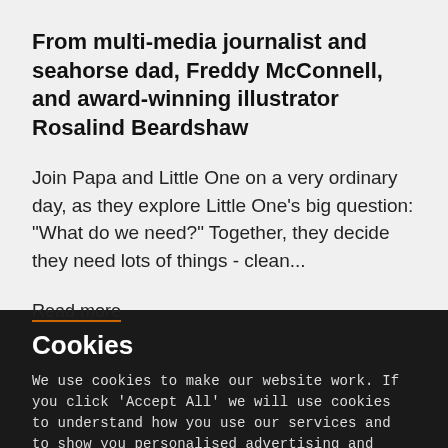From multi-media journalist and seahorse dad, Freddy McConnell, and award-winning illustrator Rosalind Beardshaw
Join Papa and Little One on a very ordinary day, as they explore Little One's big question: "What do we need?" Together, they decide they need lots of things - clean...
Read more
Cookies
We use cookies to make our website work. If you click 'Accept All' we will use cookies to understand how you use our services and to show you personalised advertising and other content. You can change your cookie settings by clicking 'Manage Cookies'. For more information please see our cookie policy